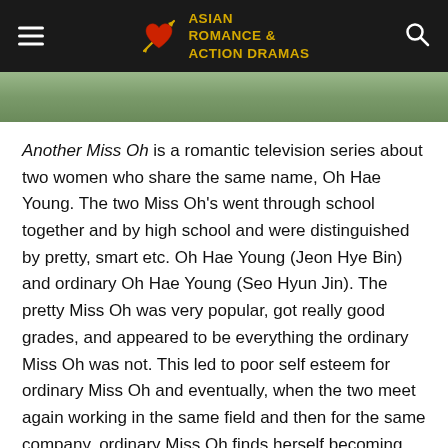Asian Romance & Action Dramas
[Figure (photo): Partial photo visible as a strip at the top of the page content area, showing what appears to be people outdoors]
Another Miss Oh is a romantic television series about two women who share the same name, Oh Hae Young. The two Miss Oh's went through school together and by high school and were distinguished by pretty, smart etc. Oh Hae Young (Jeon Hye Bin) and ordinary Oh Hae Young (Seo Hyun Jin). The pretty Miss Oh was very popular, got really good grades, and appeared to be everything the ordinary Miss Oh was not. This led to poor self esteem for ordinary Miss Oh and eventually, when the two meet again working in the same field and then for the same company, ordinary Miss Oh finds herself becoming ordinary once again.
The two Miss Oh's soon discover that they not only share the same name, but they also share a relationship with the same